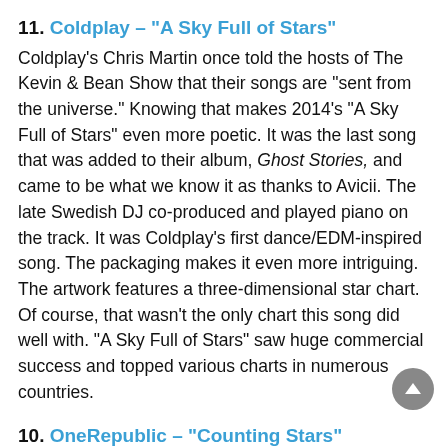11. Coldplay – "A Sky Full of Stars"
Coldplay's Chris Martin once told the hosts of The Kevin & Bean Show that their songs are "sent from the universe." Knowing that makes 2014's "A Sky Full of Stars" even more poetic. It was the last song that was added to their album, Ghost Stories, and came to be what we know it as thanks to Avicii. The late Swedish DJ co-produced and played piano on the track. It was Coldplay's first dance/EDM-inspired song. The packaging makes it even more intriguing. The artwork features a three-dimensional star chart. Of course, that wasn't the only chart this song did well with. "A Sky Full of Stars" saw huge commercial success and topped various charts in numerous countries.
10. OneRepublic – "Counting Stars"
OneRepublic frontman, Ryan Tedder, was no stranger to writing hits before he brought this 2013 song to life. Leona Lewis' "Bleeding Love" and Ellie Goulding's "Burn" were both of his British chart-topping tunes; however, this was the first UK No.1 single for Tedder as a